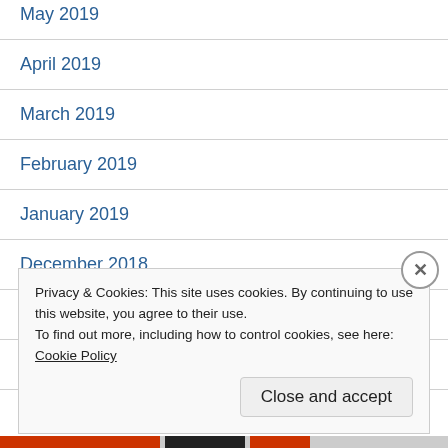May 2019
April 2019
March 2019
February 2019
January 2019
December 2018
November 2018
August 2018
June 2018
Privacy & Cookies: This site uses cookies. By continuing to use this website, you agree to their use.
To find out more, including how to control cookies, see here: Cookie Policy
Close and accept